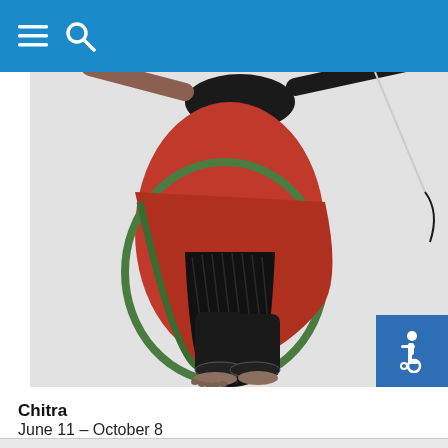Navigation header with hamburger menu and search icon
[Figure (photo): A classical Indian dancer shown from the waist down, wearing a red and green sari with black pleated skirt over black pants with embellishment at the ankles, holding what appears to be a bow or stick, barefoot, posed against a light gray background. An accessibility wheelchair icon badge is visible in the lower right of the image.]
Chitra
June 11 – October 8